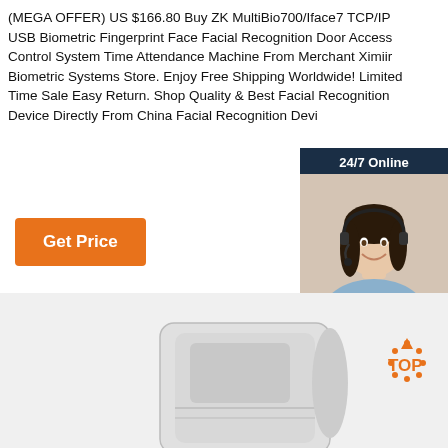(MEGA OFFER) US $166.80 Buy ZK MultiBio700/Iface7 TCP/IP USB Biometric Fingerprint Face Facial Recognition Door Access Control System Time Attendance Machine From Merchant Ximiir Biometric Systems Store. Enjoy Free Shipping Worldwide! Limited Time Sale Easy Return. Shop Quality & Best Facial Recognition Device Directly From China Facial Recognition Devi...
[Figure (photo): Customer service representative smiling with headset, shown in a dark blue chat widget panel with '24/7 Online' header, 'Click here for free chat!' text, and orange QUOTATION button]
[Figure (other): Orange button reading 'Get Price']
[Figure (photo): Product image of ZK MultiBio700/Iface7 biometric device (white/grey device) at bottom of page, with orange dotted TOP arrow badge in bottom right]